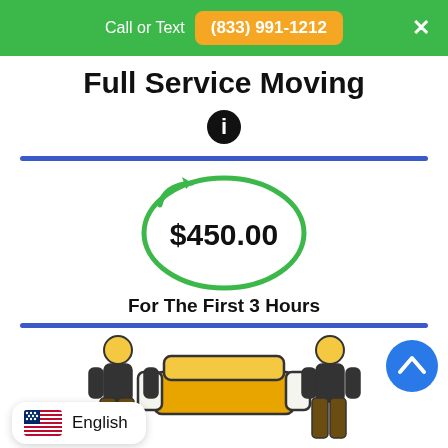Call or Text (833) 991-1212
Full Service Moving
[Figure (infographic): Info icon (black circle with white 'i')]
[Figure (infographic): Green circular arrow ellipse with $450.00 price inside]
For The First 3 Hours
[Figure (illustration): Two movers (yellow hard hats, dark pants) carrying a sofa/couch illustration]
[Figure (other): Blue circular scroll-up button with white chevron arrow]
English